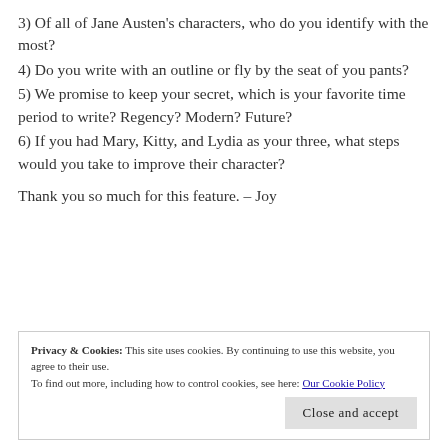3) Of all of Jane Austen's characters, who do you identify with the most?
4) Do you write with an outline or fly by the seat of you pants?
5) We promise to keep your secret, which is your favorite time period to write? Regency? Modern? Future?
6) If you had Mary, Kitty, and Lydia as your three, what steps would you take to improve their character?
Thank you so much for this feature. – Joy
Privacy & Cookies: This site uses cookies. By continuing to use this website, you agree to their use. To find out more, including how to control cookies, see here: Our Cookie Policy